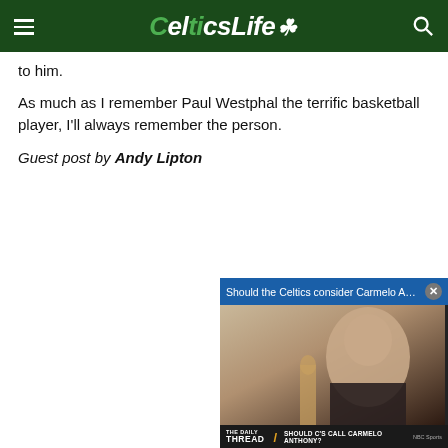CelticsLife
to him.
As much as I remember Paul Westphal the terrific basketball player, I'll always remember the person.
Guest post by Andy Lipton
[Figure (screenshot): Embedded video player overlay showing a man speaking, with title bar 'Should the Celtics consider Carmelo Ant...' and bottom bar reading 'THE DAILY THREAD - SHOULD C'S CALL CARMELO ANTHONY?']